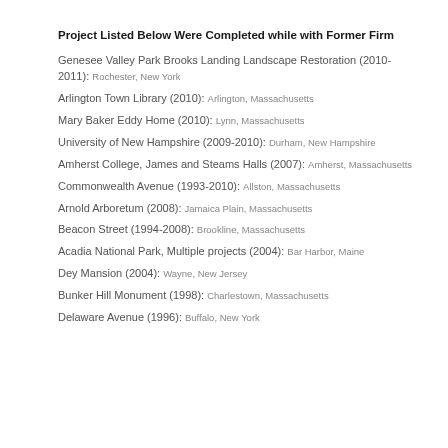Project Listed Below Were Completed while with Former Firm
Genesee Valley Park Brooks Landing Landscape Restoration (2010-2011): Rochester, New York
Arlington Town Library (2010): Arlington, Massachusetts
Mary Baker Eddy Home (2010): Lynn, Massachusetts
University of New Hampshire (2009-2010): Durham, New Hampshire
Amherst College, James and Steams Halls (2007): Amherst, Massachusetts
Commonwealth Avenue (1993-2010): Allston, Massachusetts
Arnold Arboretum (2008): Jamaica Plain, Massachusetts
Beacon Street (1994-2008): Brookline, Massachusetts
Acadia National Park, Multiple projects (2004): Bar Harbor, Maine
Dey Mansion (2004): Wayne, New Jersey
Bunker Hill Monument (1998): Charlestown, Massachusetts
Delaware Avenue (1996): Buffalo, New York